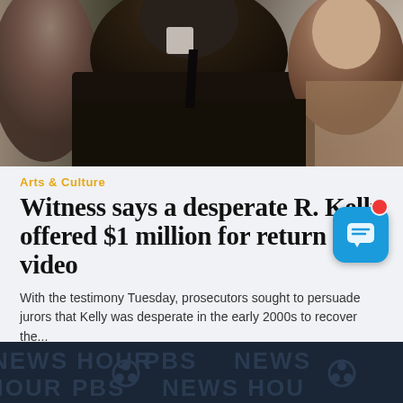[Figure (photo): A man in a dark suit photographed in profile from behind/side, with another person visible to the right, against a light curtain background. A third person is partly visible on the left.]
Arts & Culture
Witness says a desperate R. Kelly offered $1 million for return of video
With the testimony Tuesday, prosecutors sought to persuade jurors that Kelly was desperate in the early 2000s to recover the...
[Figure (screenshot): PBS NewsHour logo/watermark repeated on a dark blue background, partially visible at bottom of page.]